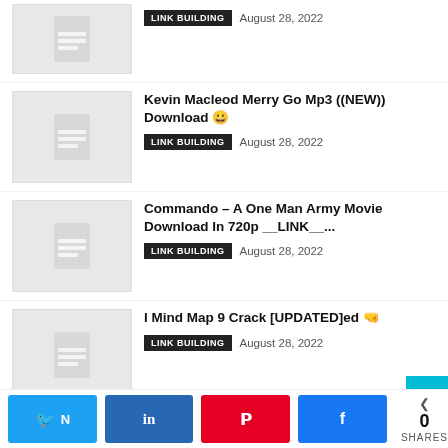LINK BUILDING  August 28, 2022
Kevin Macleod Merry Go Mp3 ((NEW)) Download 😀
LINK BUILDING  August 28, 2022
Commando – A One Man Army Movie Download In 720p __LINK__...
LINK BUILDING  August 28, 2022
I Mind Map 9 Crack [UPDATED]ed 🤜
LINK BUILDING  August 28, 2022